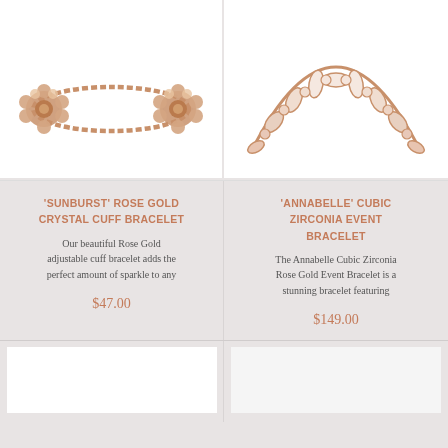[Figure (photo): Rose gold sunburst crystal cuff bracelet with two large floral crystal centerpieces on a thin chain band]
[Figure (photo): Rose gold cubic zirconia event bracelet with large marquise and round crystal stones forming a curved band]
'SUNBURST' ROSE GOLD CRYSTAL CUFF BRACELET
'ANNABELLE' CUBIC ZIRCONIA EVENT BRACELET
Our beautiful Rose Gold adjustable cuff bracelet adds the perfect amount of sparkle to any
The Annabelle Cubic Zirconia Rose Gold Event Bracelet is a stunning bracelet featuring
$47.00
$149.00
[Figure (photo): Partial view of a jewelry item, mostly white/blank space]
[Figure (photo): Partial view of a jewelry item on white background]